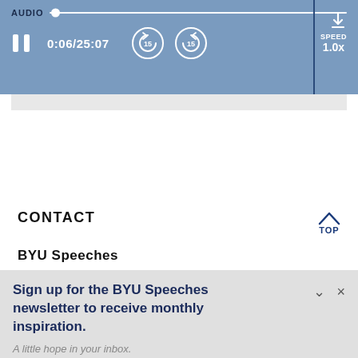[Figure (screenshot): Audio player bar showing: AUDIO label with slider, pause button, timestamp 0:06/25:07, two 15-second skip buttons, SPEED 1.0x, and a download icon]
CONTACT
BYU Speeches
Sign up for the BYU Speeches newsletter to receive monthly inspiration.
A little hope in your inbox.
Enter your email
SUBSCRIBE